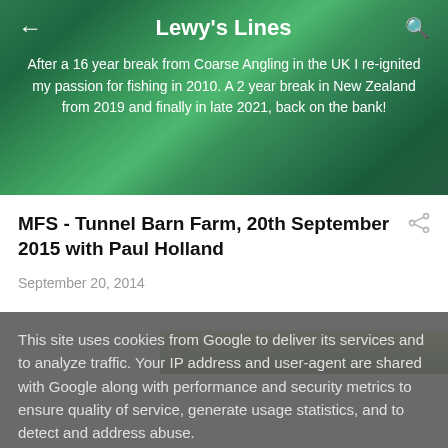Lewy's Lines
After a 16 year break from Coarse Angling in the UK I re-ignited my passion for fishing in 2010. A 2 year break in New Zealand from 2019 and finally in late 2021, back on the bank!
MFS - Tunnel Barn Farm, 20th September 2015 with Paul Holland
September 20, 2014
[Figure (photo): Partial view of a grassy outdoor field/farm area, showing green grass and trees in the background]
This site uses cookies from Google to deliver its services and to analyze traffic. Your IP address and user-agent are shared with Google along with performance and security metrics to ensure quality of service, generate usage statistics, and to detect and address abuse.
LEARN MORE    OK